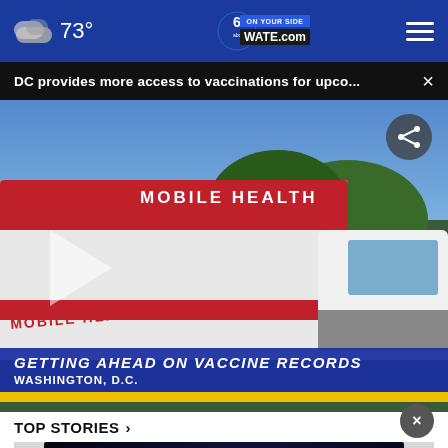73° | WATE.com | 6 abc ON YOUR SIDE
DC provides more access to vaccinations for upco...  ×
[Figure (screenshot): Mobile health truck from Children's National with text overlays: GETTING AHEAD ON VACCINE RECORDS / WASHINGTON, D.C. A play button is visible on the left.]
TOP STORIES ›
[Figure (photo): Dark advertisement banner reading SHE CAN STEM in bold white text on a dark starry background.]